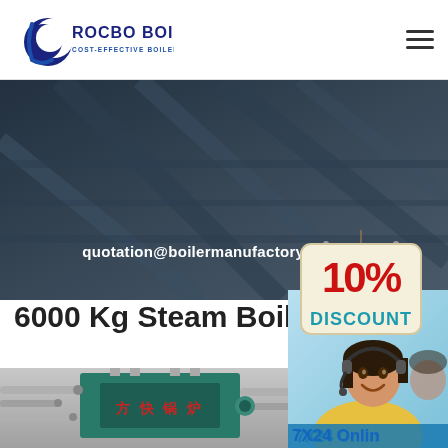[Figure (logo): Rocbo Boiler logo with crescent C shape, text ROCBO BOILER and subtitle COST-EFFECTIVE BOILER SUPPLIER]
[Figure (photo): Dark industrial background with diagonal lines, banner area]
quotation@boilermanufactory.com
[Figure (infographic): 10% DISCOUNT badge in red and teal colors on cream background]
6000 Kg Steam Boiler
[Figure (photo): Industrial boiler with Chinese text 方快锅炉 on teal panel with pipes]
[Figure (photo): Customer service woman with headset smiling, 7X24 Online text below]